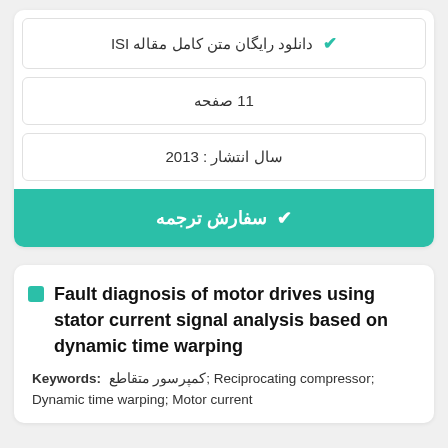✔ دانلود رایگان متن کامل مقاله ISI
11 صفحه
سال انتشار : 2013
✔ سفارش ترجمه
Fault diagnosis of motor drives using stator current signal analysis based on dynamic time warping
Keywords: کمپرسور متقاطع; Reciprocating compressor; Dynamic time warping; Motor current